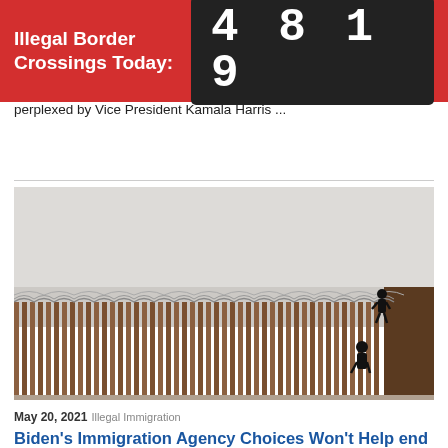Illegal Border Crossings Today: 4 8 1 9
perplexed by Vice President Kamala Harris ...
[Figure (photo): Photo of a border fence with razor wire on top and silhouettes of people climbing or standing at the fence, with an overcast sky background.]
May 20, 2021  Illegal Immigration
Biden's Immigration Agency Choices Won't Help end the Border Crisis